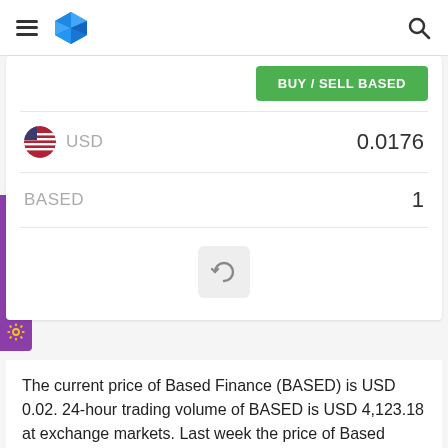Based Finance trading platform header with hamburger menu, logo, and search icon
BUY / SELL BASED
| Currency | Value |
| --- | --- |
| USD | 0.0176 |
| BASED | 1 |
The current price of Based Finance (BASED) is USD 0.02. 24-hour trading volume of BASED is USD 4,123.18 at exchange markets. Last week the price of Based Finance has decreased by 23.23%. The price of the crypto currency has decreased by 7.94% in the last 24 hours.